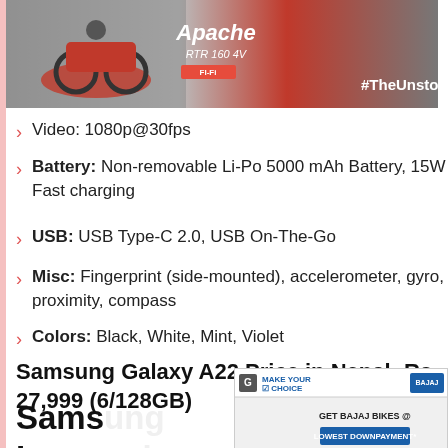[Figure (photo): Apache RTR motorcycle advertisement with text #TheUnstoppable]
Video: 1080p@30fps
Battery: Non-removable Li-Po 5000 mAh Battery, 15W Fast charging
USB: USB Type-C 2.0, USB On-The-Go
Misc: Fingerprint (side-mounted), accelerometer, gyro, proximity, compass
Colors: Black, White, Mint, Violet
Samsung Galaxy A22 Price in Nepal: Rs. 27,999 (6/128GB)
[Figure (photo): Bajaj Bikes advertisement: Make Your Choice - Get Bajaj Bikes @ Lowest Downpayment or Lowest EMI]
Samsung Galaxy A22 Impressions...